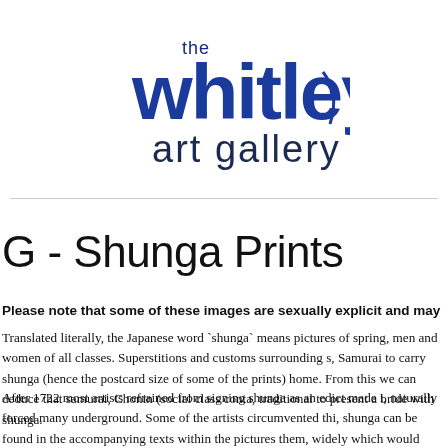[Figure (logo): The Whitley Art Gallery logo with stylized text in dark blue/navy]
G - Shunga Prints
Please note that some of these images are sexually explicit and may
Translated literally, the Japanese word `shunga` means pictures of spring, men and women of all classes. Superstitions and customs surrounding s, Samurai to carry shunga (hence the postcard size of some of the prints) home. From this we can deduce that samurai, Chonin (social class conta, traditional to present a bride with shunga.
After 1722 most artists refrained from signing shunga as an edict made i, naturally forced many underground. Some of the artists circumvented thi, shunga can be found in the accompanying texts within the pictures them, widely which would have been understood by the viewers at the time. Su, ejaculation. There were obvious symbols as cherries and others such a